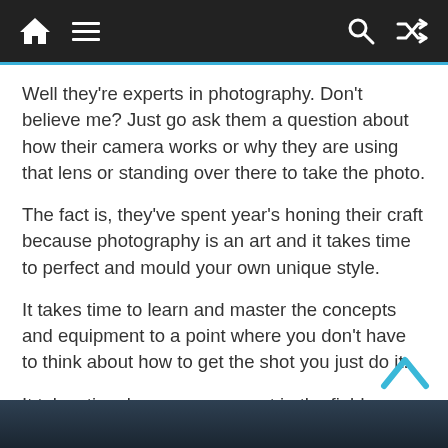Navigation bar with home, menu, search, and shuffle icons
Well they're experts in photography. Don't believe me? Just go ask them a question about how their camera works or why they are using that lens or standing over there to take the photo.
The fact is, they've spent year's honing their craft because photography is an art and it takes time to perfect and mould your own unique style.
It takes time to learn and master the concepts and equipment to a point where you don't have to think about how to get the shot you just do it.
It takes time become an expert in the field.
[Figure (other): Back to top chevron arrow icon in blue/cyan color]